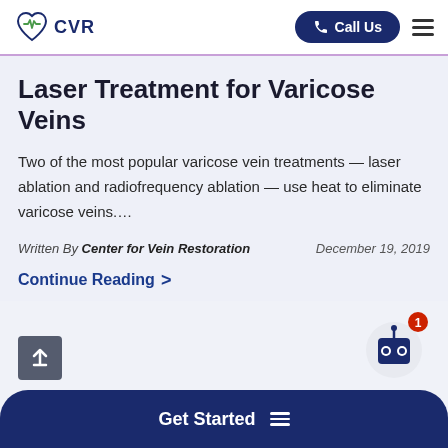CVR — Call Us
Laser Treatment for Varicose Veins
Two of the most popular varicose vein treatments — laser ablation and radiofrequency ablation — use heat to eliminate varicose veins....
Written By Center for Vein Restoration   December 19, 2019
Continue Reading >
Get Started